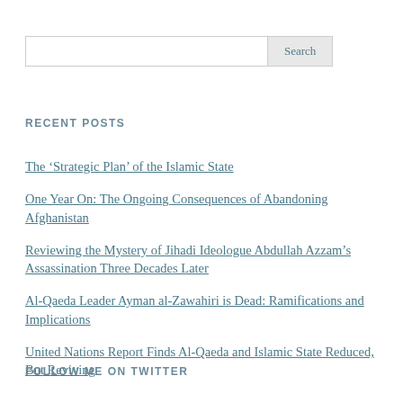RECENT POSTS
The ‘Strategic Plan’ of the Islamic State
One Year On: The Ongoing Consequences of Abandoning Afghanistan
Reviewing the Mystery of Jihadi Ideologue Abdullah Azzam’s Assassination Three Decades Later
Al-Qaeda Leader Ayman al-Zawahiri is Dead: Ramifications and Implications
United Nations Report Finds Al-Qaeda and Islamic State Reduced, But Reviving
FOLLOW ME ON TWITTER